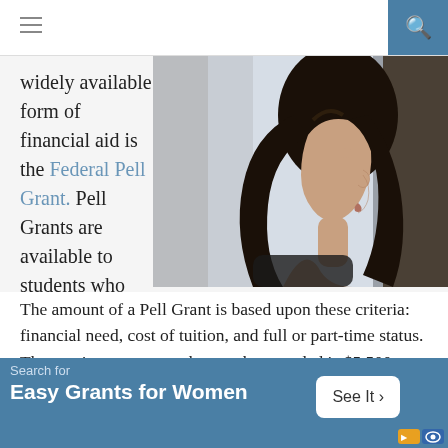[Figure (photo): Woman with dark hair looking out a window, side profile view, indoors]
widely available form of financial aid is the Federal Pell Grant. Pell Grants are available to students who are pursuing an undergraduate degree. The amount of a Pell Grant is based upon these criteria: financial need, cost of tuition, and full or part-time status. The maximum amount that can be awarded is $5,500.
Any student whose parent or guardian died while serving in
[Figure (infographic): Advertisement banner: Search for Easy Grants for Women, See It button]